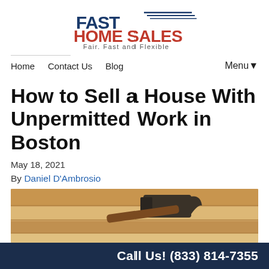[Figure (logo): Fast Home Sales logo with tagline 'Fair, Fast and Flexible']
Home   Contact Us   Blog   Menu▾
How to Sell a House With Unpermitted Work in Boston
May 18, 2021
By Daniel D'Ambrosio
[Figure (photo): Close-up photo of a hammer resting on wooden lumber/boards at a construction site]
Call Us! (833) 814-7355